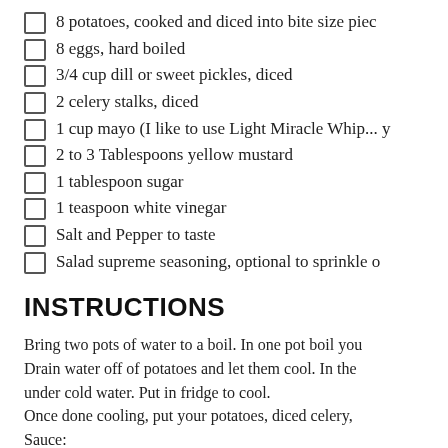8 potatoes, cooked and diced into bite size pieces
8 eggs, hard boiled
3/4 cup dill or sweet pickles, diced
2 celery stalks, diced
1 cup mayo (I like to use Light Miracle Whip... y
2 to 3 Tablespoons yellow mustard
1 tablespoon sugar
1 teaspoon white vinegar
Salt and Pepper to taste
Salad supreme seasoning, optional to sprinkle o
INSTRUCTIONS
Bring two pots of water to a boil. In one pot boil you Drain water off of potatoes and let them cool. In the under cold water. Put in fridge to cool. Once done cooling, put your potatoes, diced celery, Sauce: In a separate bowl mix your mayo, mustard, sugar, Add salt and pepper to taste. If it is dry, you can add hardboiled egg to slice and add it to the top.